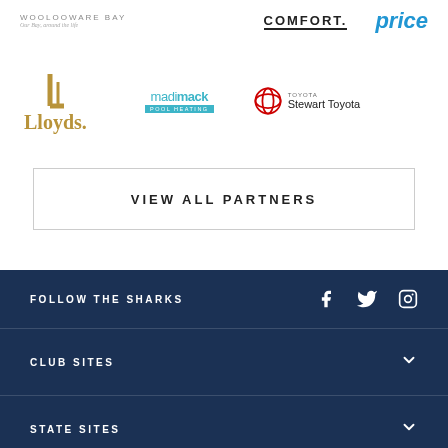[Figure (logo): Woolooware Bay logo with tagline 'Our Bay, around the life']
[Figure (logo): COMFORT logo in bold black uppercase with underline]
[Figure (logo): price logo in blue italic bold font (partially visible)]
[Figure (logo): Lloyds logo in gold/brown color]
[Figure (logo): madimack pool heating logo in teal]
[Figure (logo): Stewart Toyota logo with Toyota emblem]
VIEW ALL PARTNERS
FOLLOW THE SHARKS
CLUB SITES
STATE SITES